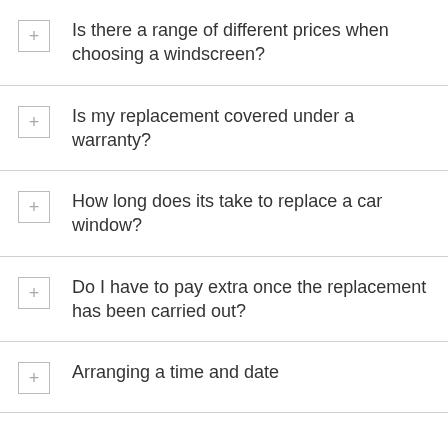Is there a range of different prices when choosing a windscreen?
Is my replacement covered under a warranty?
How long does its take to replace a car window?
Do I have to pay extra once the replacement has been carried out?
Arranging a time and date